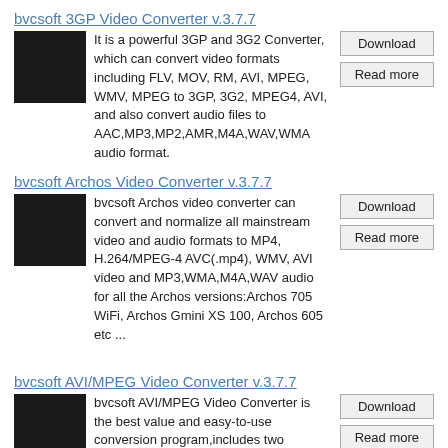bvcsoft 3GP Video Converter  v.3.7.7
It is a powerful 3GP and 3G2 Converter, which can convert video formats including FLV, MOV, RM, AVI, MPEG, WMV, MPEG to 3GP, 3G2, MPEG4, AVI, and also convert audio files to AAC,MP3,MP2,AMR,M4A,WAV,WMA audio format.
bvcsoft Archos Video Converter  v.3.7.7
bvcsoft Archos video converter can convert and normalize all mainstream video and audio formats to MP4, H.264/MPEG-4 AVC(.mp4), WMV, AVI video and MP3,WMA,M4A,WAV audio for all the Archos versions:Archos 705 WiFi, Archos Gmini XS 100, Archos 605 etc ...
bvcsoft AVI/MPEG Video Converter  v.3.7.7
bvcsoft AVI/MPEG Video Converter is the best value and easy-to-use conversion program,includes two powerful software:AVI video converter and MPEG video converter.help you convert and normalie video,audio formats to AVI/MPEG-1/MPEG-2/HD/MPEG/FLV/MP4 ...